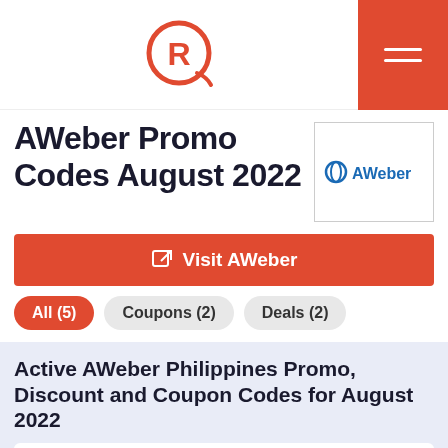Rappler logo and navigation menu
AWeber Promo Codes August 2022
[Figure (logo): AWeber logo in a bordered box]
Visit AWeber
All (5)
Coupons (2)
Deals (2)
Active AWeber Philippines Promo, Discount and Coupon Codes for August 2022
[Figure (logo): AWeber logo in coupon card]
Extra 25% Off on Your Purchase at AWeber
Receive an Extra 25% Off on Your